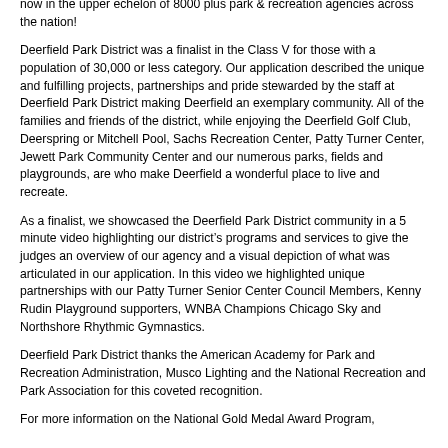now in the upper echelon of 8000 plus park & recreation agencies across the nation!
Deerfield Park District was a finalist in the Class V for those with a population of 30,000 or less category. Our application described the unique and fulfilling projects, partnerships and pride stewarded by the staff at Deerfield Park District making Deerfield an exemplary community. All of the families and friends of the district, while enjoying the Deerfield Golf Club, Deerspring or Mitchell Pool, Sachs Recreation Center, Patty Turner Center, Jewett Park Community Center and our numerous parks, fields and playgrounds, are who make Deerfield a wonderful place to live and recreate.
As a finalist, we showcased the Deerfield Park District community in a 5 minute video highlighting our district’s programs and services to give the judges an overview of our agency and a visual depiction of what was articulated in our application. In this video we highlighted unique partnerships with our Patty Turner Senior Center Council Members, Kenny Rudin Playground supporters, WNBA Champions Chicago Sky and Northshore Rhythmic Gymnastics.
Deerfield Park District thanks the American Academy for Park and Recreation Administration, Musco Lighting and the National Recreation and Park Association for this coveted recognition.
For more information on the National Gold Medal Award Program,